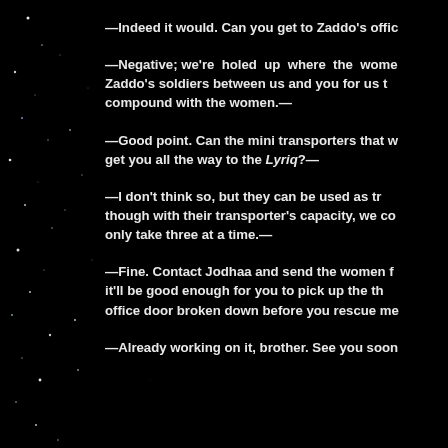—Indeed it would. Can you get to Zaddo's offic
—Negative; we're holed up where the wome Zaddo's soldiers between us and you for us t compound with the women.—
—Good point. Can the mini transporters that w get you all the way to the Lyriq?—
—I don't think so, but they can be used as tr though with their transporter's capacity, we co only take three at a time.—
—Fine. Contact Jodhaa and send the women f it'll be good enough for you to pick up the th office door broken down before you rescue me
—Already working on it, brother. See you soon